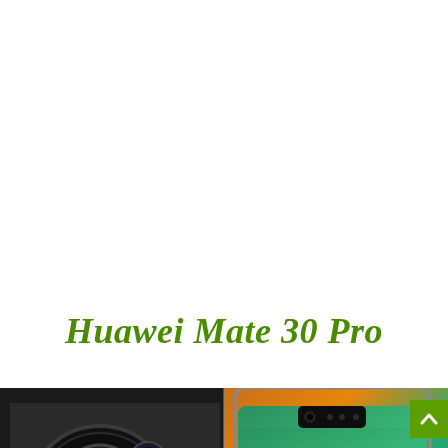Huawei Mate 30 Pro
[Figure (photo): Photo of the Huawei Mate 30 Pro smartphone showing the circular camera module on the back and the curved display on the front, split view]